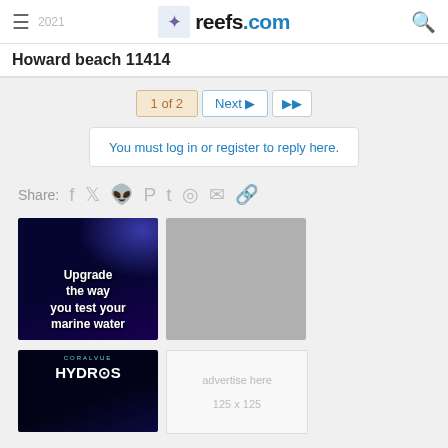reefs.com
Howard beach 11414
1 of 2  Next  ▶▶
You must log in or register to reply here.
Share:  (social icons: facebook, twitter, reddit, pinterest, tumblr, whatsapp, email, link)
[Figure (photo): Ad: dark background with coral, text 'Upgrade the way you test your marine water']
[Figure (photo): Gray placeholder ad box]
[Figure (photo): CoralVue HYDROS ad on dark background]
[Figure (photo): White ad placeholder box with text 'advertise here 125 x 125']